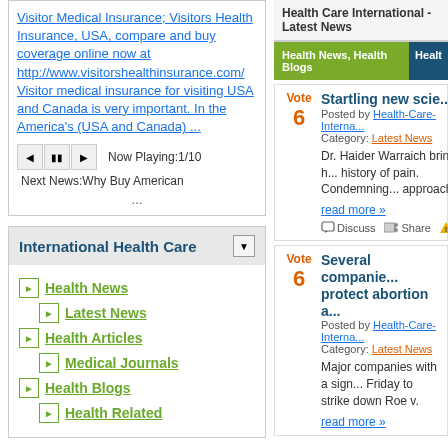Visitor Medical Insurance; Visitors Health Insurance, USA, compare and buy coverage online now at http://www.visitorshealthinsurance.com/ Visitor medical insurance for visiting USA and Canada is very important. In the America's (USA and Canada) ...
Now Playing:1/10
Next News:Why Buy American
...
International Health Care
Health News
Latest News
Health Articles
Medical Journals
Health Blogs
Health Related
[Figure (other): Relatives Visiting banner - dark red/brown background with white text]
Health Care International - Latest News
Health News, Health Blogs
Healt
Vote
6
Startling new scie...
Posted by Health-Care-Interna...
Category: Latest News
Dr. Haider Warraich brings h... history of pain. Condemning... approach.
read more »
Discuss  Share  Bury
Vote
6
Several companie... protect abortion a...
Posted by Health-Care-Interna...
Category: Latest News
Major companies with a sign... Friday to strike down Roe v...
read more »